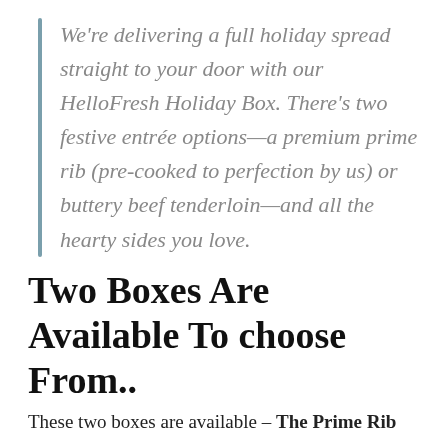We're delivering a full holiday spread straight to your door with our HelloFresh Holiday Box. There's two festive entrée options—a premium prime rib (pre-cooked to perfection by us) or buttery beef tenderloin—and all the hearty sides you love.
Two Boxes Are Available To choose From..
These two boxes are available – The Prime Rib